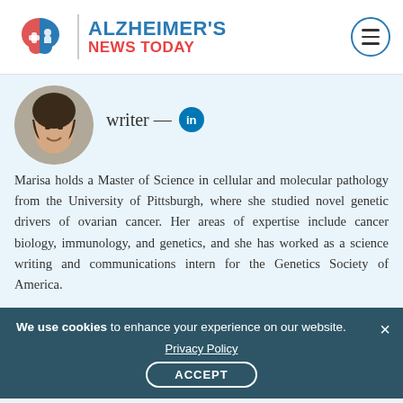[Figure (logo): Alzheimer's News Today logo with brain puzzle icon, vertical divider, site name in teal and red]
[Figure (photo): Circular headshot photo of Marisa Wexler, a young woman with dark hair, smiling]
writer —
Marisa holds a Master of Science in cellular and molecular pathology from the University of Pittsburgh, where she studied novel genetic drivers of ovarian cancer. Her areas of expertise include cancer biology, immunology, and genetics, and she has worked as a science writing and communications intern for the Genetics Society of America.
We use cookies to enhance your experience on our website.
Privacy Policy
ACCEPT
Articles by Marisa Wexler
November 4, 2019 · News · by Marisa Wexler, MS